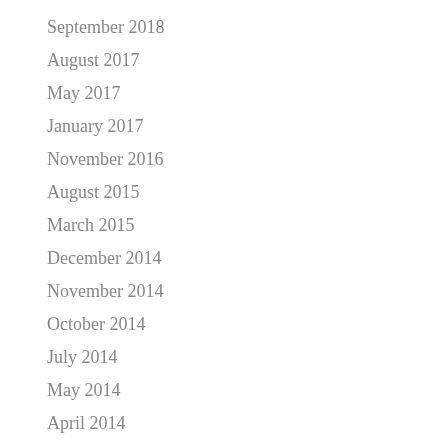September 2018
August 2017
May 2017
January 2017
November 2016
August 2015
March 2015
December 2014
November 2014
October 2014
July 2014
May 2014
April 2014
December 2013
November 2013